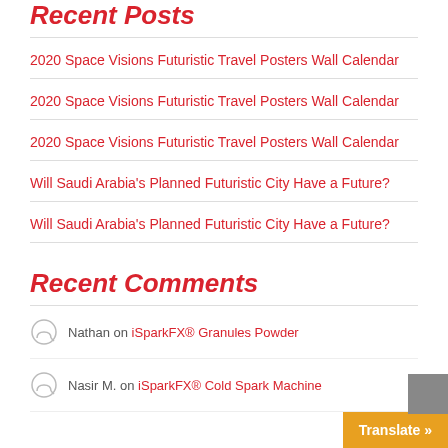Recent Posts
2020 Space Visions Futuristic Travel Posters Wall Calendar
2020 Space Visions Futuristic Travel Posters Wall Calendar
2020 Space Visions Futuristic Travel Posters Wall Calendar
Will Saudi Arabia's Planned Futuristic City Have a Future?
Will Saudi Arabia's Planned Futuristic City Have a Future?
Recent Comments
Nathan on iSparkFX® Granules Powder
Nasir M. on iSparkFX® Cold Spark Machine